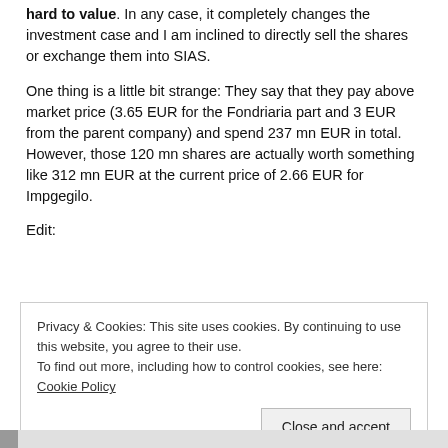hard to value. In any case, it completely changes the investment case and I am inclined to directly sell the shares or exchange them into SIAS.
One thing is a little bit strange: They say that they pay above market price (3.65 EUR for the Fondriaria part and 3 EUR from the parent company) and spend 237 mn EUR in total. However, those 120 mn shares are actually worth something like 312 mn EUR at the current price of 2.66 EUR for Impgegilo.
Edit:
Privacy & Cookies: This site uses cookies. By continuing to use this website, you agree to their use.
To find out more, including how to control cookies, see here: Cookie Policy
Close and accept